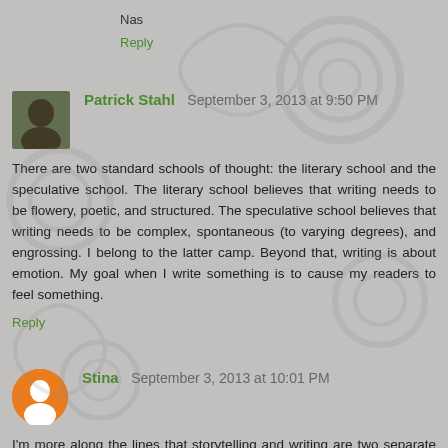Nas
Reply
Patrick Stahl   September 3, 2013 at 9:50 PM
There are two standard schools of thought: the literary school and the speculative school. The literary school believes that writing needs to be flowery, poetic, and structured. The speculative school believes that writing needs to be complex, spontaneous (to varying degrees), and engrossing. I belong to the latter camp. Beyond that, writing is about emotion. My goal when I write something is to cause my readers to feel something.
Reply
Stina   September 3, 2013 at 10:01 PM
I'm more along the lines that storytelling and writing are two separate entities. Most of us are stronger at one than the other. The best books are the ones that are a combination